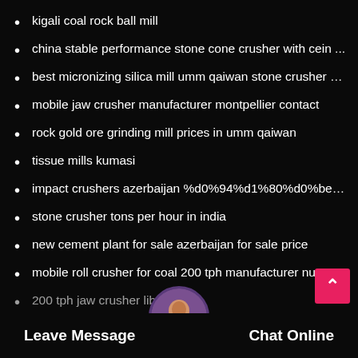kigali coal rock ball mill
china stable performance stone cone crusher with cein ...
best micronizing silica mill umm qaiwan stone crusher m...
mobile jaw crusher manufacturer montpellier contact
rock gold ore grinding mill prices in umm qaiwan
tissue mills kumasi
impact crushers azerbaijan %d0%94%d1%80%d0%be%d0...
stone crusher tons per hour in india
new cement plant for sale azerbaijan for sale price
mobile roll crusher for coal 200 tph manufacturer nu...
200 tph jaw crusher liby...
Leave Message    Chat Online